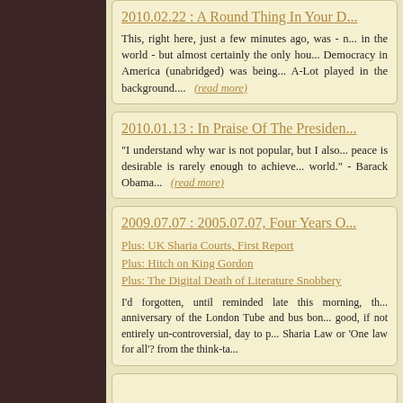2010.02.22 : A Round Thing In Your D...
This, right here, just a few minutes ago, was - n... in the world - but almost certainly the only hou... Democracy in America (unabridged) was being... A-Lot played in the background....  (read more)
2010.01.13 : In Praise Of The Presiden...
"I understand why war is not popular, but I also... peace is desirable is rarely enough to achieve... world." - Barack Obama...  (read more)
2009.07.07 : 2005.07.07, Four Years O...
Plus: UK Sharia Courts, First Report
Plus: Hitch on King Gordon
Plus: The Digital Death of Literature Snobbery
I'd forgotten, until reminded late this morning, th... anniversary of the London Tube and bus bon... good, if not entirely un-controversial, day to p... Sharia Law or 'One law for all'? from the think-ta...